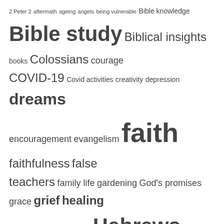[Figure (infographic): Tag cloud with words of varying sizes related to religious, inspirational, and literary topics. Terms include: 2 Peter 2, aftermath, ageing, angels, being vulnerable, Bible knowledge, Bible study, Biblical insights, books, Colossians, courage, COVID-19, Covid activities, creativity, depression, dreams, encouragement, evangelism, faith, faithfulness, false teachers, family life, gardening, God's promises, grace, grief, healing, healing from trauma, heaven, Hebrews, Hebrews 13, hiking, HKL story, home, humour, ICOC, inspiration, Last Days, life, journey, life lessons, life stories, meditation, Melchizedek, memoir, memoirs, memorizing Scripture, memory childhood secrets, moving, My story, old testament, original recipe fresh ideas, paradise road, passage, perfection, please read me!, poems about love, poems about poems, poetry, prayer, publishing, relationships, scripture memory, seeking God, sleep, Spiritual Deception]